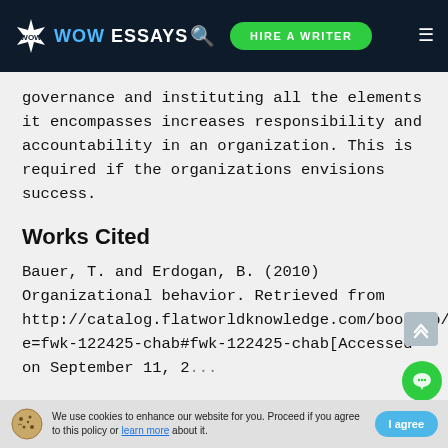WOW ESSAYS | HIRE A WRITER
governance and instituting all the elements it encompasses increases responsibility and accountability in an organization. This is required if the organizations envisions success.
Works Cited
Bauer, T. and Erdogan, B. (2010) Organizational behavior. Retrieved from http://catalog.flatworldknowledge.com/bookhub/reader/4?e=fwk-122425-chab#fwk-122425-chab[Accessed on September 11, 2...
We use cookies to enhance our website for you. Proceed if you agree to this policy or learn more about it. | I agree